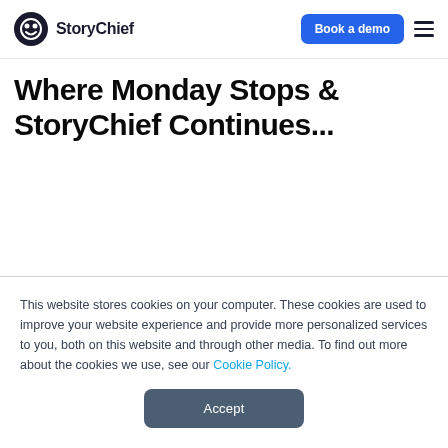StoryChief — Book a demo
Where Monday Stops & StoryChief Continues...
This website stores cookies on your computer. These cookies are used to improve your website experience and provide more personalized services to you, both on this website and through other media. To find out more about the cookies we use, see our Cookie Policy.